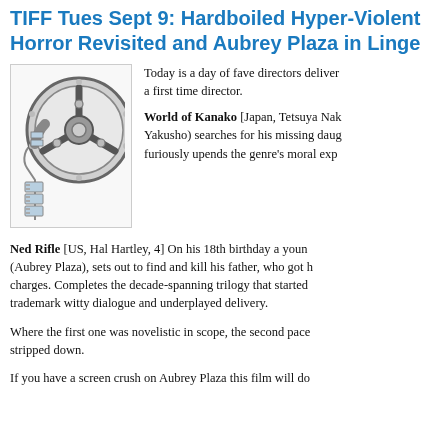TIFF Tues Sept 9: Hardboiled Hyper-Violent Horror Revisited and Aubrey Plaza in Lingerie
[Figure (illustration): Film reel illustration — a cartoon movie film reel with a strip of film curling out from it, in grey and light blue tones]
Today is a day of fave directors delivering and a first time director.
World of Kanako [Japan, Tetsuya Nakashima] Yakusho) searches for his missing daughter and furiously upends the genre's moral expectations.
Ned Rifle [US, Hal Hartley, 4] On his 18th birthday a young man, accompanied by a guardian angel (Aubrey Plaza), sets out to find and kill his father, who got his mother imprisoned on bogus terrorism charges. Completes the decade-spanning trilogy that started with Henry Fool. Pure Hartley, with his trademark witty dialogue and underplayed delivery.
Where the first one was novelistic in scope, the second paced differently and this one is stripped down.
If you have a screen crush on Aubrey Plaza this film will do nothing to diminish it.